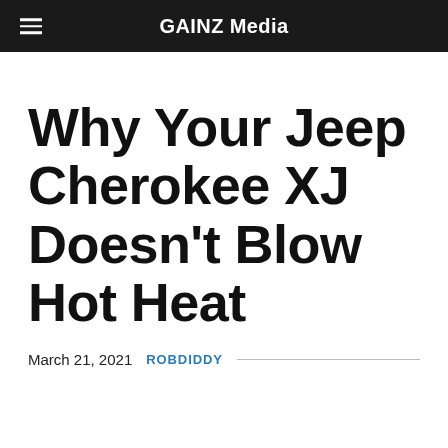GAINZ Media
Why Your Jeep Cherokee XJ Doesn't Blow Hot Heat
March 21, 2021   ROBDIDDY